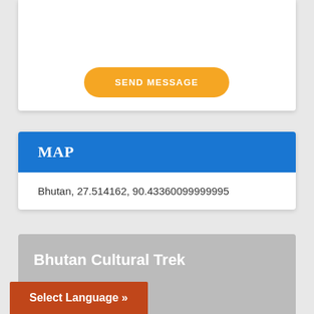[Figure (other): White card panel (top section of a web contact form)]
SEND MESSAGE
MAP
Bhutan, 27.514162, 90.43360099999995
Bhutan Cultural Trek
Select Language »